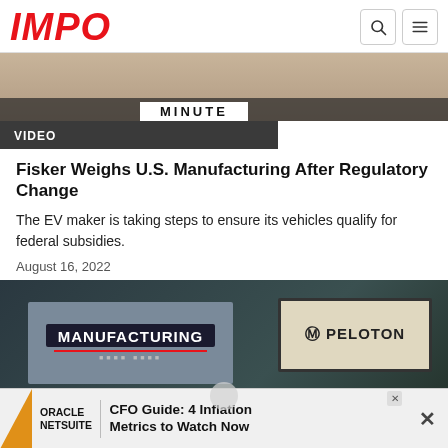IMPO
[Figure (screenshot): Top banner image showing 'MINUTE' label over a wooden/material background]
VIDEO
Fisker Weighs U.S. Manufacturing After Regulatory Change
The EV maker is taking steps to ensure its vehicles qualify for federal subsidies.
August 16, 2022
[Figure (screenshot): Video thumbnail showing 'MANUFACTURING' and 'PELOTON' branded cards on a dark industrial background]
ORACLE NETSUITE | CFO Guide: 4 Inflation Metrics to Watch Now